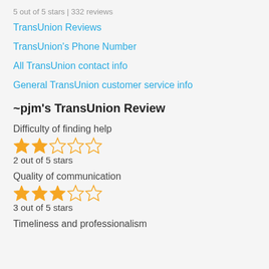5 out of 5 stars | 332 reviews
TransUnion Reviews
TransUnion's Phone Number
All TransUnion contact info
General TransUnion customer service info
~pjm's TransUnion Review
Difficulty of finding help
[Figure (other): 2 out of 5 stars rating: 2 filled stars, 3 empty stars]
2 out of 5 stars
Quality of communication
[Figure (other): 3 out of 5 stars rating: 3 filled stars, 2 empty stars]
3 out of 5 stars
Timeliness and professionalism